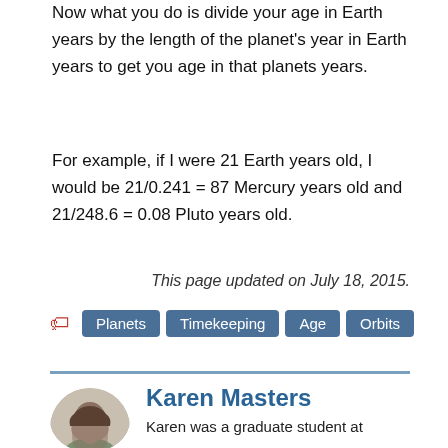Now what you do is divide your age in Earth years by the length of the planet's year in Earth years to get you age in that planets years.
For example, if I were 21 Earth years old, I would be 21/0.241 = 87 Mercury years old and 21/248.6 = 0.08 Pluto years old.
This page updated on July 18, 2015.
Planets  Timekeeping  Age  Orbits
Karen Masters
Karen was a graduate student at